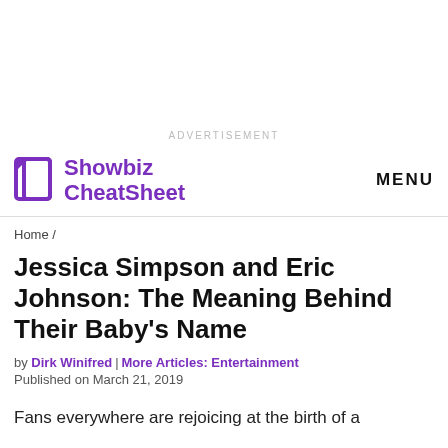ADVERTISEMENT
Showbiz CheatSheet   MENU
Home /
Jessica Simpson and Eric Johnson: The Meaning Behind Their Baby's Name
by Dirk Winifred | More Articles: Entertainment
Published on March 21, 2019
Fans everywhere are rejoicing at the birth of a